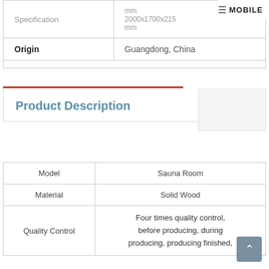≡ MOBILE
| Specification |  |
| --- | --- |
| Specification | 2000x1700x215 mm |
| Origin | Guangdong, China |
Product Description
|  |  |
| --- | --- |
| Model | Sauna Room |
| Material | Solid Wood |
| Quality Control | Four times quality control, before producing, during producing, producing finished, |